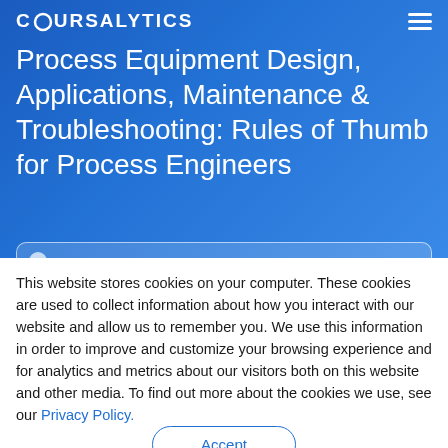COURSALYTICS
Process Equipment Design, Applications, Maintenance & Troubleshooting: Rules of Thumb for Process Engineers
This website stores cookies on your computer. These cookies are used to collect information about how you interact with our website and allow us to remember you. We use this information in order to improve and customize your browsing experience and for analytics and metrics about our visitors both on this website and other media. To find out more about the cookies we use, see our Privacy Policy.
Accept